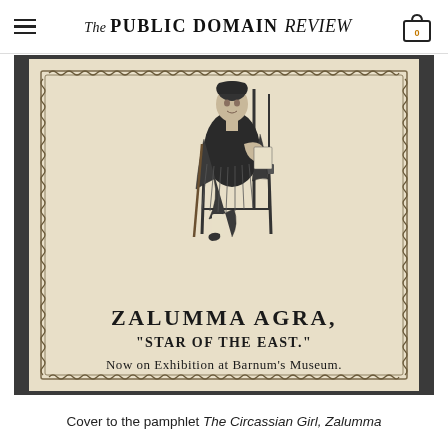The PUBLIC DOMAIN REVIEW
[Figure (illustration): Vintage pamphlet cover showing Zalumma Agra seated in a chair wearing exotic costume, with decorative chain border. Text reads: ZALUMMA AGRA, "STAR OF THE EAST." Now on Exhibition at Barnum's Museum.]
Cover to the pamphlet The Circassian Girl, Zalumma